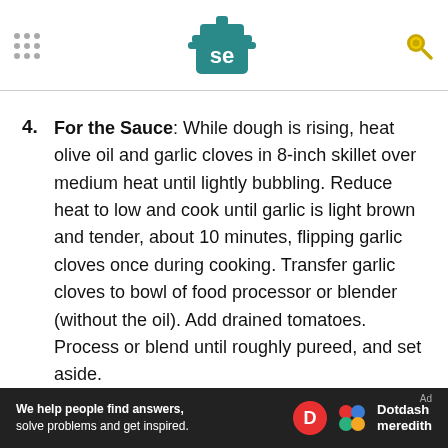SE logo header with navigation dots and search icon
4. For the Sauce: While dough is rising, heat olive oil and garlic cloves in 8-inch skillet over medium heat until lightly bubbling. Reduce heat to low and cook until garlic is light brown and tender, about 10 minutes, flipping garlic cloves once during cooking. Transfer garlic cloves to bowl of food processor or blender (without the oil). Add drained tomatoes. Process or blend until roughly pureed, and set aside.
5. Transfer garlic-scented olive oil to large saucepan and heat over medium-high heat until
[Figure (other): Dotdash Meredith advertisement banner — 'We help people find answers, solve problems and get inspired.' with Dotdash Meredith logo]